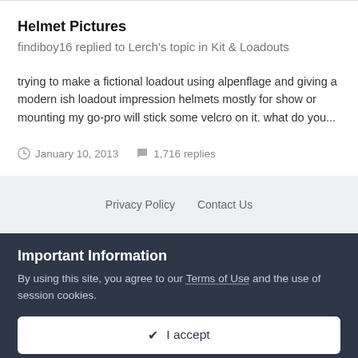Helmet Pictures
findiboy16 replied to Lerch's topic in Kit & Loadouts
trying to make a fictional loadout using alpenflage and giving a modern ish loadout impression helmets mostly for show or mounting my go-pro will stick some velcro on it. what do you...
January 10, 2013   1,716 replies
Privacy Policy   Contact Us
Important Information
By using this site, you agree to our Terms of Use and the use of session cookies.
✔ I accept